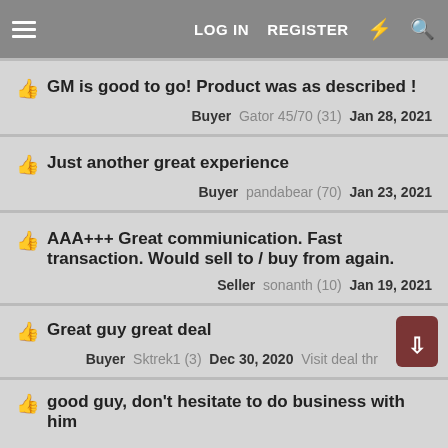LOG IN   REGISTER
👍 GM is good to go! Product was as described !
Buyer   Gator 45/70 (31)   Jan 28, 2021
👍 Just another great experience
Buyer   pandabear (70)   Jan 23, 2021
👍 AAA+++ Great commiunication. Fast transaction. Would sell to / buy from again.
Seller   sonanth (10)   Jan 19, 2021
👍 Great guy great deal
Buyer   Sktrek1 (3)   Dec 30, 2020   Visit deal thread
👍 good guy, don't hesitate to do business with him